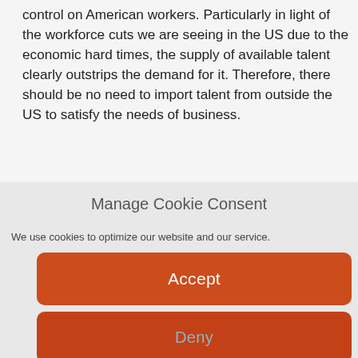control on American workers. Particularly in light of the workforce cuts we are seeing in the US due to the economic hard times, the supply of available talent clearly outstrips the demand for it. Therefore, there should be no need to import talent from outside the US to satisfy the needs of business.
Manage Cookie Consent
We use cookies to optimize our website and our service.
Accept
Deny
Preferences